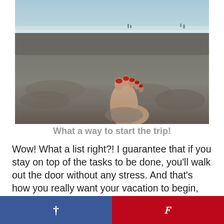[Figure (photo): Beach photo showing a foot with red toenails buried in sand, ocean and horizon visible in background]
What a way to start the trip!
Wow!  What a list right?!  I guarantee that if you stay on top of the tasks to be done, you'll walk out the door without any stress.  And that's how you really want your vacation to begin, isn't it.
[Figure (infographic): Social sharing buttons: Facebook (blue, f icon) and Pinterest (red, p icon)]